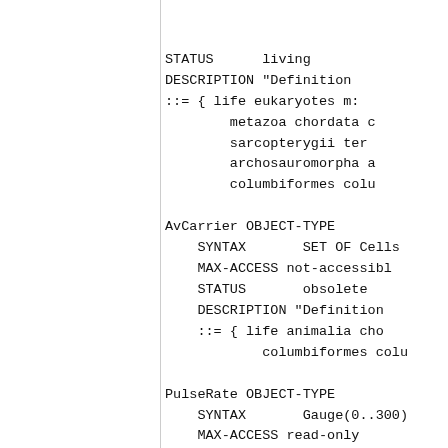STATUS      living
DESCRIPTION "Definition
::= { life eukaryotes m:
        metazoa chordata c
        sarcopterygii ter
        archosauromorpha a
        columbiformes colu
AvCarrier OBJECT-TYPE
    SYNTAX       SET OF Cells
    MAX-ACCESS not-accessibl
    STATUS       obsolete
    DESCRIPTION "Definition
    ::= { life animalia cho
            columbiformes colu
PulseRate OBJECT-TYPE
    SYNTAX       Gauge(0..300)
    MAX-ACCESS read-only